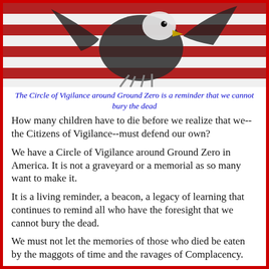[Figure (photo): Bald eagle in front of American flag with red and white stripes, viewed from below with wings spread]
The Circle of Vigilance around Ground Zero is a reminder that we cannot bury the dead
How many children have to die before we realize that we--the Citizens of Vigilance--must defend our own?
We have a Circle of Vigilance around Ground Zero in America. It is not a graveyard or a memorial as so many want to make it.
It is a living reminder, a beacon, a legacy of learning that continues to remind all who have the foresight that we cannot bury the dead.
We must not let the memories of those who died be eaten by the maggots of time and the ravages of Complacency.
The Sentinels of Vigilance never died. They remain alive and well, hovering over Ground Zero, whispering to those who have ears to hear: "Semper